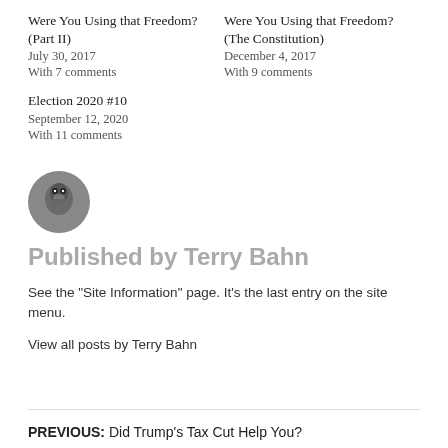Were You Using that Freedom? (Part II)
July 30, 2017
With 7 comments
Were You Using that Freedom? (The Constitution)
December 4, 2017
With 9 comments
Election 2020 #10
September 12, 2020
With 11 comments
[Figure (photo): Circular avatar photo of a bird (ostrich or similar), used as author profile picture]
Published by Terry Bahn
See the "Site Information" page. It's the last entry on the site menu.
View all posts by Terry Bahn
PREVIOUS: Did Trump's Tax Cut Help You?